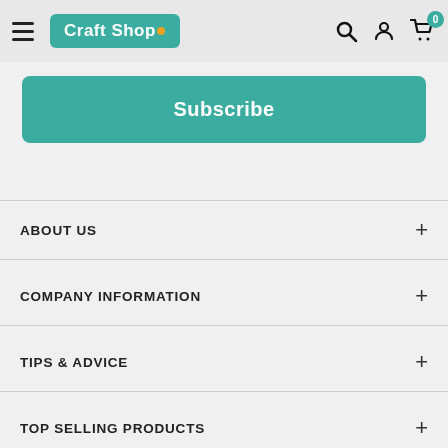CraftShop navigation header with hamburger menu, logo, search, user, and cart icons
Subscribe
ABOUT US
COMPANY INFORMATION
TIPS & ADVICE
TOP SELLING PRODUCTS